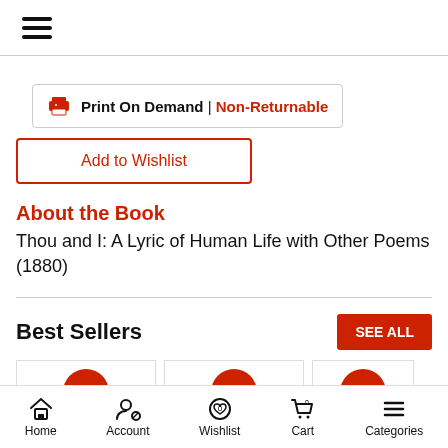≡ (hamburger menu)
🖨 Print On Demand | Non-Returnable
Add to Wishlist
About the Book
Thou and I: A Lyric of Human Life with Other Poems (1880)
Best Sellers
SEE ALL
31%
26%
29%
Home | Account | Wishlist 0 | Cart 0 | Categories